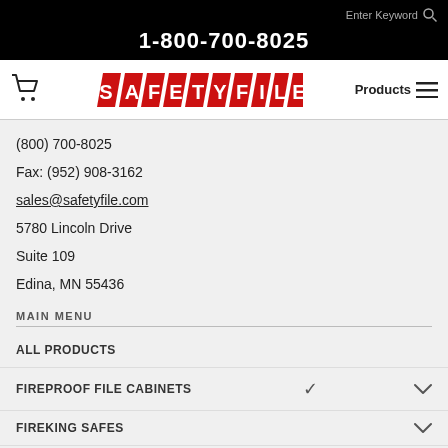Enter Keyword [search]
1-800-700-8025
[Figure (logo): SafetyFile logo — red parallelogram tiles spelling SAFETYFILE in white bold letters]
Products [hamburger menu]
(800) 700-8025
Fax: (952) 908-3162
sales@safetyfile.com
5780 Lincoln Drive
Suite 109
Edina, MN 55436
MAIN MENU
ALL PRODUCTS
FIREPROOF FILE CABINETS
FIREKING SAFES